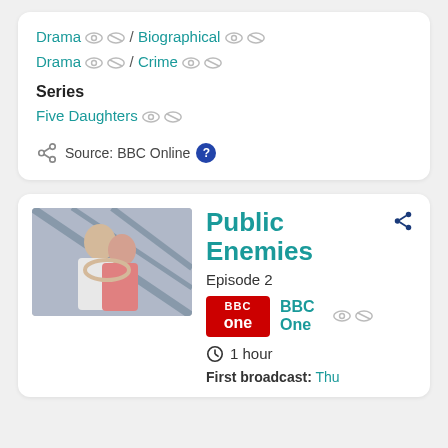Drama / Biographical Drama / Crime
Series
Five Daughters
Source: BBC Online
Public Enemies
Episode 2
BBC One
1 hour
First broadcast: Thu